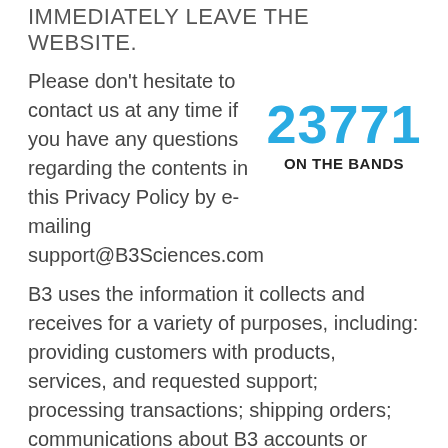IMMEDIATELY LEAVE THE WEBSITE.
Please don't hesitate to contact us at any time if you have any questions regarding the contents in this Privacy Policy by e-mailing support@B3Sciences.com
23771
ON THE BANDS
B3 uses the information it collects and receives for a variety of purposes, including: providing customers with products, services, and requested support; processing transactions; shipping orders; communications about B3 accounts or transactions; changes to policies and other administrative matters; to answer questions or comments; to better understand your interests in order to provide you with promotional information, relevant content, surveys, questionnaires, and other materials consistent with applicable law and choices and controls you may have; improving our products,